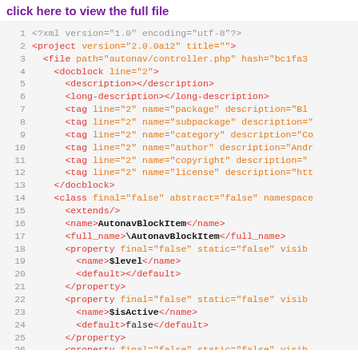click here to view the full file
[Figure (screenshot): XML source code viewer showing lines 1-26 of a phpDocumentor XML file for autonav/controller.php, with syntax highlighting. Tags are in red/pink, attribute names in orange, attribute values in orange, and special content in dark/bold. Lines show XML declaration, project tag, file tag, docblock with description/long-description/tag elements, class definition with extends, name, full_name, and property elements including $level, $isActive.]